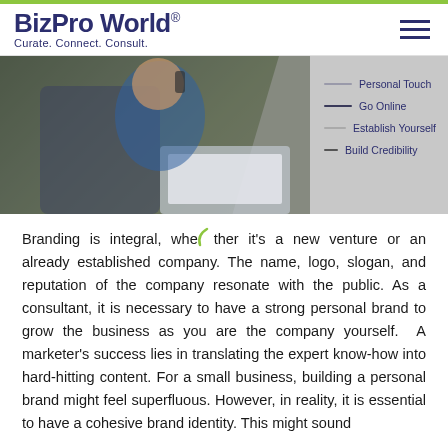[Figure (logo): BizPro World logo with tagline 'Curate. Connect. Consult.' and hamburger menu icon]
[Figure (photo): Man in blue vest talking on phone while working on laptop at a table, with a legend overlay showing: Personal Touch, Go Online, Establish Yourself, Build Credibility]
Branding is integral, whether it's a new venture or an already established company. The name, logo, slogan, and reputation of the company resonate with the public. As a consultant, it is necessary to have a strong personal brand to grow the business as you are the company yourself.  A marketer's success lies in translating the expert know-how into hard-hitting content. For a small business, building a personal brand might feel superfluous. However, in reality, it is essential to have a cohesive brand identity. This might sound